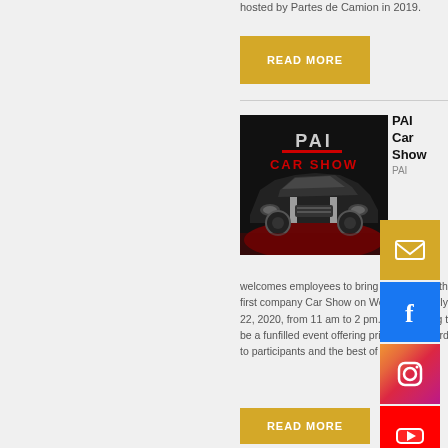hosted by Partes de Camion in 2019.
READ MORE
PAI Car Show
[Figure (photo): PAI Car Show promotional image showing a classic muscle car with 'PAI CAR SHOW' text]
PAI
welcomes employees to bring their cars to the first company Car Show on Wednesday, July 22, 2020, from 11 am to 2 pm. This is going to be a funfilled event offering prizes and awards to participants and the best of the show.
READ MORE